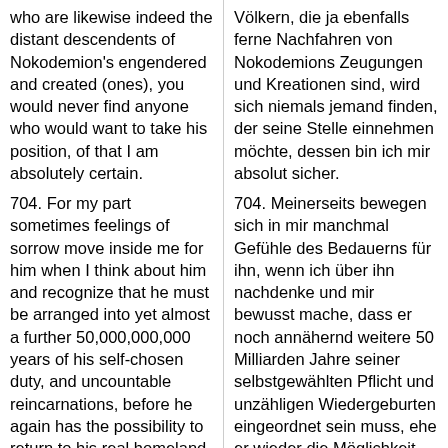who are likewise indeed the distant descendents of Nokodemion's engendered and created (ones), you would never find anyone who would want to take his position, of that I am absolutely certain.
704. For my part sometimes feelings of sorrow move inside me for him when I think about him and recognize that he must be arranged into yet almost a further 50,000,000,000 years of his self-chosen duty, and uncountable reincarnations, before he again has the possibility to return to his real homeland
Völkern, die ja ebenfalls ferne Nachfahren von Nokodemions Zeugungen und Kreationen sind, wird sich niemals jemand finden, der seine Stelle einnehmen möchte, dessen bin ich mir absolut sicher.
704. Meinerseits bewegen sich in mir manchmal Gefühle des Bedauerns für ihn, wenn ich über ihn nachdenke und mir bewusst mache, dass er noch annähernd weitere 50 Milliarden Jahre seiner selbstgewählten Pflicht und unzähligen Wiedergeburten eingeordnet sein muss, ehe er wieder die Möglichkeit